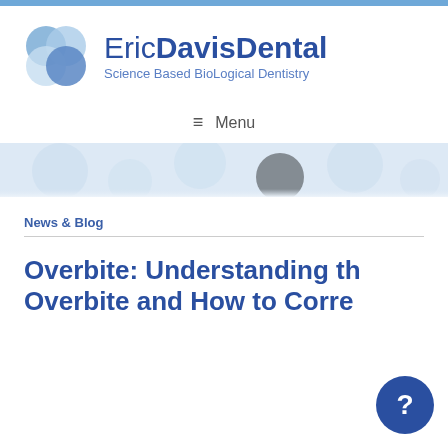[Figure (logo): Eric Davis Dental logo with four overlapping blue-toned circles and text 'EricDavisDental Science Based BioLogical Dentistry']
≡  Menu
[Figure (illustration): Decorative light blue banner with faint circle bubble pattern]
News & Blog
Overbite: Understanding the Overbite and How to Correct